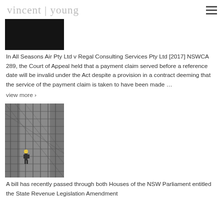vincent | young
[Figure (photo): Dark/black image, partial view at top of page]
In All Seasons Air Pty Ltd v Regal Consulting Services Pty Ltd [2017] NSWCA 289, the Court of Appeal held that a payment claim served before a reference date will be invalid under the Act despite a provision in a contract deeming that the service of the payment claim is taken to have been made …
view more ›
[Figure (photo): Black and white photograph of a construction worker on a steel reinforcement framework at a building site]
A bill has recently passed through both Houses of the NSW Parliament entitled the State Revenue Legislation Amendment